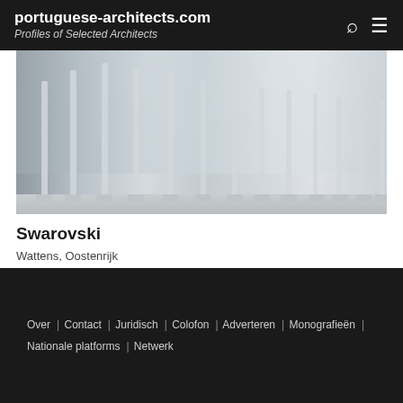portuguese-architects.com — Profiles of Selected Architects
[Figure (photo): Architectural photo of Swarovski building in Wattens, Austria, showing tall white columns/pillars in front of a glass-and-stone facade, taken from street level on an open plaza.]
Swarovski
Wattens, Oostenrijk
Over | Contact | Juridisch | Colofon | Adverteren | Monografieën | Nationale platforms | Netwerk